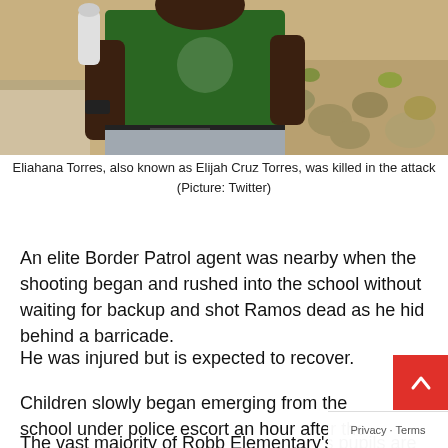[Figure (photo): Person in a green t-shirt carrying an item, outdoor setting with rocks and plants in background]
Eliahana Torres, also known as Elijah Cruz Torres, was killed in the attack (Picture: Twitter)
An elite Border Patrol agent was nearby when the shooting began and rushed into the school without waiting for backup and shot Ramos dead as he hid behind a barricade.
He was injured but is expected to recover.
Children slowly began emerging from the school under police escort an hour after the shooting, as family members ru— scene desperate for news.
The vast majority of Robb Elementary's pupils are Hispanic and